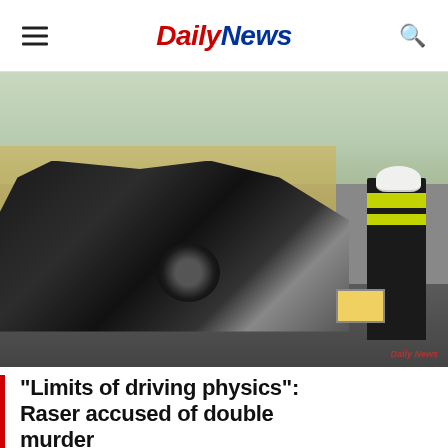Daily News
[Figure (photo): A severely wrecked dark-colored car on a road next to a field, with a firefighter in high-visibility vest standing beside it and a toolbox on the ground. The car's front end is completely destroyed with the engine exposed and a tire detached.]
"Limits of driving physics": Raser accused of double murder